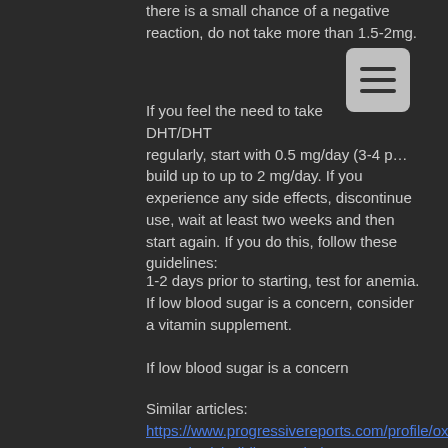there is a small chance of a negative reaction, do not take more than 1.5-2mg.
If you feel the need to take DHT/DHT regularly, start with 0.5 mg/day (3-4 p... build up to up to 2 mg/day. If you experience any side effects, discontinue use, wait at least two weeks and then start again. If you do this, follow these guidelines:
1-2 days prior to starting, test for anemia. If low blood sugar is a concern, consider a vitamin supplement.
If low blood sugar is a concern
Similar articles:
https://www.progressivereports.com/profile/oxandrolone-50mg-bodybuilding-trenbolone-5ar-8028/profile https://app.filseka.net/groups/decay-of-logos-decay-of-logos-guide/